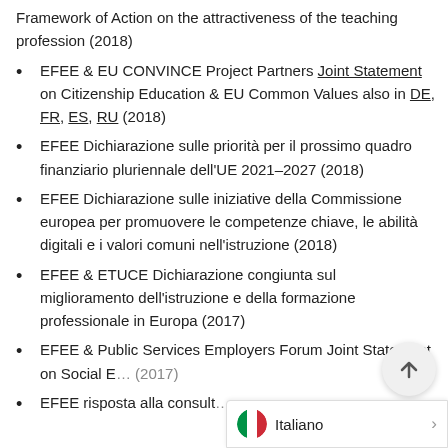Framework of Action on the attractiveness of the teaching profession (2018)
EFEE & EU CONVINCE Project Partners Joint Statement on Citizenship Education & EU Common Values also in DE, FR, ES, RU (2018)
EFEE Dichiarazione sulle priorità per il prossimo quadro finanziario pluriennale dell'UE 2021–2027 (2018)
EFEE Dichiarazione sulle iniziative della Commissione europea per promuovere le competenze chiave, le abilità digitali e i valori comuni nell'istruzione (2018)
EFEE & ETUCE Dichiarazione congiunta sul miglioramento dell'istruzione e della formazione professionale in Europa (2017)
EFEE & Public Services Employers Forum Joint Statement on Social E… (2017)
EFEE risposta alla consult…